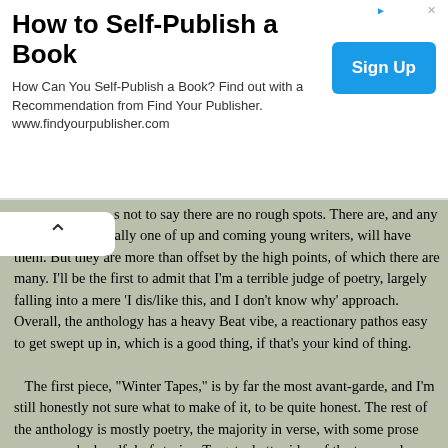How to Self-Publish a Book
How Can You Self-Publish a Book? Find out with a Recommendation from Find Your Publisher.
www.findyourpublisher.com
s not to say there are no rough spots.  There are, and any anthology, especially one of up and coming young writers, will have them.  But they are more than offset by the high points, of which there are many.  I'll be the first to admit that I'm a terrible judge of poetry, largely falling into a mere 'I dis/like this, and I don't know why' approach. Overall, the anthology has a heavy Beat vibe, a reactionary pathos easy to get swept up in, which is a good thing, if that's your kind of thing.
The first piece, "Winter Tapes," is by far the most avant-garde, and I'm still honestly not sure what to make of it, to be quite honest.  The rest of the anthology is mostly poetry, the majority in verse, with some prose poems, and a handful of stories.  To get a better idea of the tone and variety of the anthology, check out their Best of 2013 page.
If you like poetry and want to check out some new writers, visit